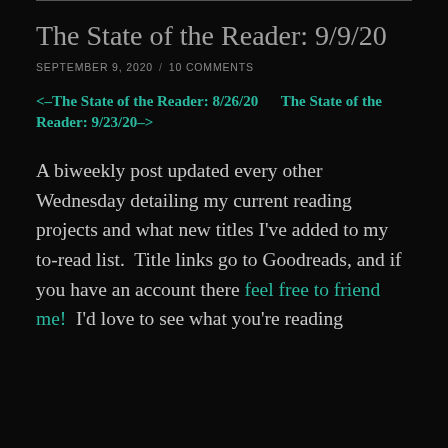The State of the Reader: 9/9/20
SEPTEMBER 9, 2020  /  10 COMMENTS
<–The State of the Reader: 8/26/20        The State of the Reader: 9/23/20–>
A biweekly post updated every other Wednesday detailing my current reading projects and what new titles I've added to my to-read list.  Title links go to Goodreads, and if you have an account there feel free to friend me!  I'd love to see what you're reading